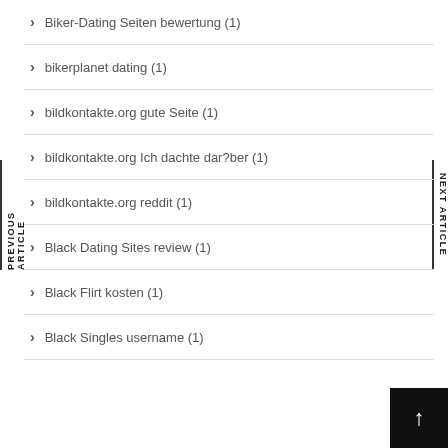Biker-Dating Seiten bewertung (1)
bikerplanet dating (1)
bildkontakte.org gute Seite (1)
bildkontakte.org Ich dachte dar?ber (1)
bildkontakte.org reddit (1)
Black Dating Sites review (1)
Black Flirt kosten (1)
Black Singles username (1)